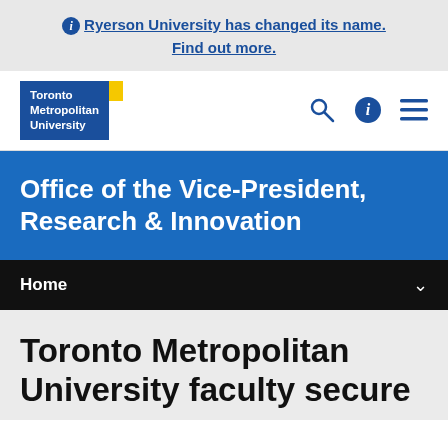ℹ Ryerson University has changed its name. Find out more.
[Figure (logo): Toronto Metropolitan University logo — blue rectangle with white text and yellow accent square]
Office of the Vice-President, Research & Innovation
Home
Toronto Metropolitan University faculty secure